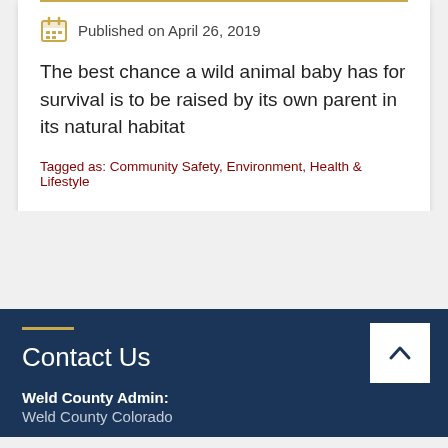Published on April 26, 2019
The best chance a wild animal baby has for survival is to be raised by its own parent in its natural habitat
Tagged as: Community Safety, Environment, Health & Lifestyle
Contact Us
Weld County Admin:
Weld County Colorado